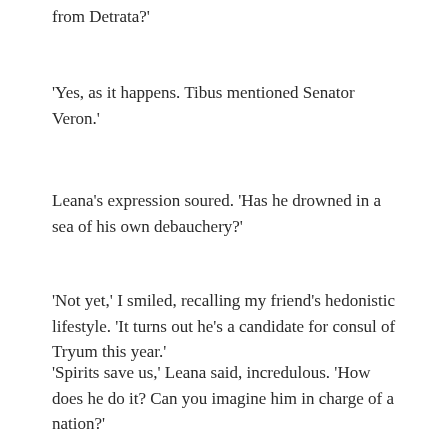from Detrata?'
'Yes, as it happens. Tibus mentioned Senator Veron.'
Leana's expression soured. 'Has he drowned in a sea of his own debauchery?'
'Not yet,' I smiled, recalling my friend's hedonistic lifestyle. 'It turns out he's a candidate for consul of Tryum this year.'
'Spirits save us,' Leana said, incredulous. 'How does he do it? Can you imagine him in charge of a nation?'